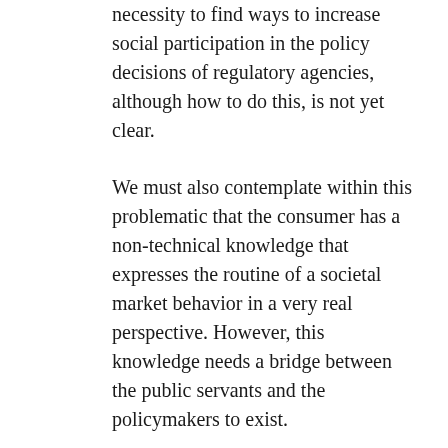necessity to find ways to increase social participation in the policy decisions of regulatory agencies, although how to do this, is not yet clear.
We must also contemplate within this problematic that the consumer has a non-technical knowledge that expresses the routine of a societal market behavior in a very real perspective. However, this knowledge needs a bridge between the public servants and the policymakers to exist.
In a process of policymaking, such knowledge is in general ignored and this also